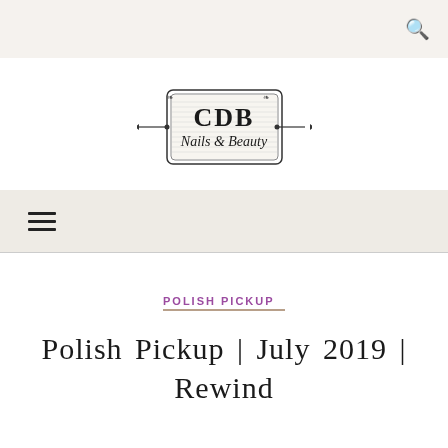🔍
[Figure (logo): CDB Nails & Beauty logo — ornate rectangular frame with decorative flourishes, serif CDB monogram and script text 'Nails & Beauty']
≡ (hamburger menu icon)
POLISH PICKUP
Polish Pickup | July 2019 | Rewind